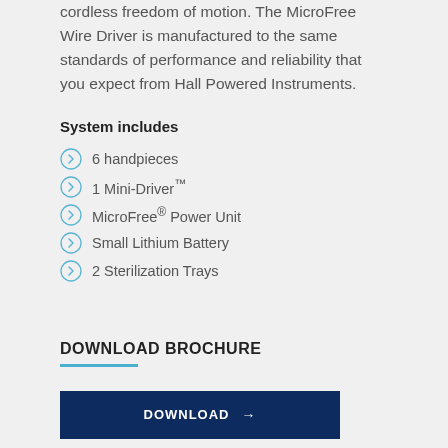cordless freedom of motion. The MicroFree Wire Driver is manufactured to the same standards of performance and reliability that you expect from Hall Powered Instruments.
System includes
6 handpieces
1 Mini-Driver™
MicroFree® Power Unit
Small Lithium Battery
2 Sterilization Trays
DOWNLOAD BROCHURE
DOWNLOAD →